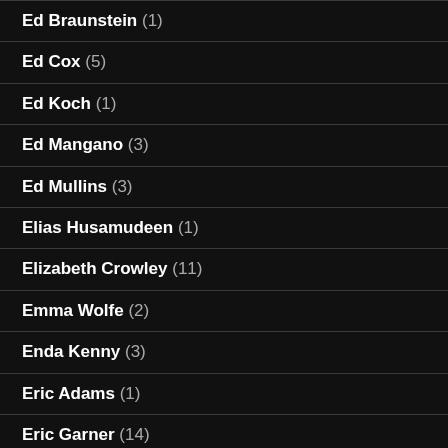Ed Braunstein (1)
Ed Cox (5)
Ed Koch (1)
Ed Mangano (3)
Ed Mullins (3)
Elias Husamudeen (1)
Elizabeth Crowley (11)
Emma Wolfe (2)
Enda Kenny (3)
Eric Adams (1)
Eric Garner (14)
Eric Schneiderman (9)